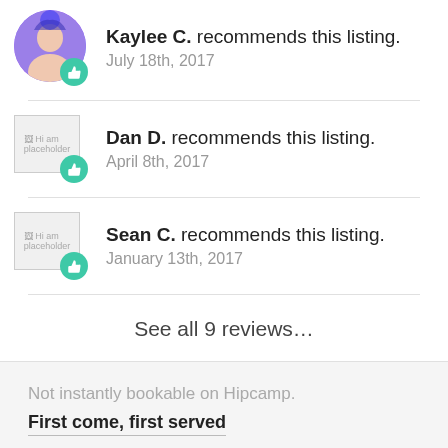Kaylee C. recommends this listing. July 18th, 2017
Dan D. recommends this listing. April 8th, 2017
Sean C. recommends this listing. January 13th, 2017
See all 9 reviews…
Not instantly bookable on Hipcamp. First come, first served